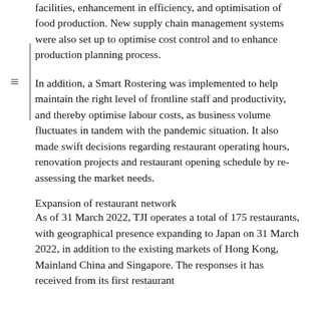facilities, enhancement in efficiency, and optimisation of food production. New supply chain management systems were also set up to optimise cost control and to enhance production planning process.
In addition, a Smart Rostering was implemented to help maintain the right level of frontline staff and productivity, and thereby optimise labour costs, as business volume fluctuates in tandem with the pandemic situation. It also made swift decisions regarding restaurant operating hours, renovation projects and restaurant opening schedule by re-assessing the market needs.
Expansion of restaurant network
As of 31 March 2022, TJI operates a total of 175 restaurants, with geographical presence expanding to Japan on 31 March 2022, in addition to the existing markets of Hong Kong, Mainland China and Singapore. The responses it has received from its first restaurant